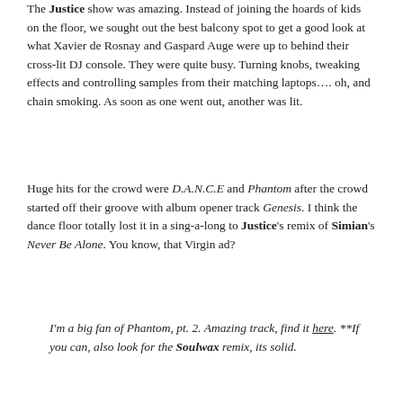The Justice show was amazing. Instead of joining the hoards of kids on the floor, we sought out the best balcony spot to get a good look at what Xavier de Rosnay and Gaspard Auge were up to behind their cross-lit DJ console. They were quite busy. Turning knobs, tweaking effects and controlling samples from their matching laptops…. oh, and chain smoking. As soon as one went out, another was lit.
Huge hits for the crowd were D.A.N.C.E and Phantom after the crowd started off their groove with album opener track Genesis. I think the dance floor totally lost it in a sing-a-long to Justice's remix of Simian's Never Be Alone. You know, that Virgin ad?
I'm a big fan of Phantom, pt. 2. Amazing track, find it here. **If you can, also look for the Soulwax remix, its solid.
[Figure (photo): Dark concert photo showing a DJ or performer bent over a laptop/console on stage, with warm spotlight illumination against a very dark background.]